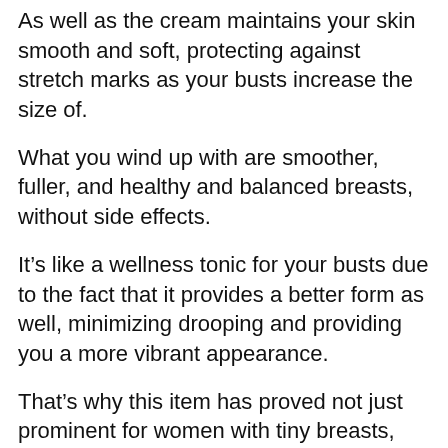As well as the cream maintains your skin smooth and soft, protecting against stretch marks as your busts increase the size of.
What you wind up with are smoother, fuller, and healthy and balanced breasts, without side effects.
It’s like a wellness tonic for your busts due to the fact that it provides a better form as well, minimizing drooping and providing you a more vibrant appearance.
That’s why this item has proved not just prominent for women with tiny breasts, yet likewise for those that are older as well as wish to provide their cleavage a whole new ruptured of life.